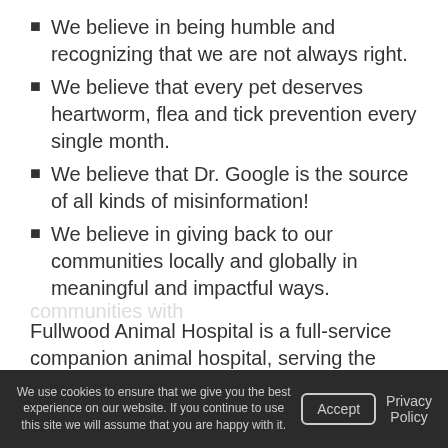We believe in being humble and recognizing that we are not always right.
We believe that every pet deserves heartworm, flea and tick prevention every single month.
We believe that Dr. Google is the source of all kinds of misinformation!
We believe in giving back to our communities locally and globally in meaningful and impactful ways.
Fullwood Animal Hospital is a full-service companion animal hospital, serving the people and pets of Mint Hill, Matthews, and surrounding
We use cookies to ensure that we give you the best experience on our website. If you continue to use this site we will assume that you are happy with it.